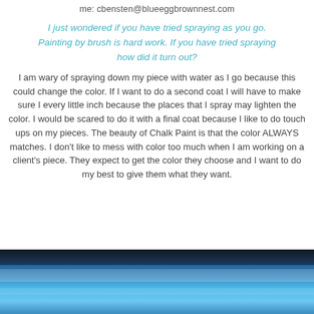me: cbensten@blueeggbrownnest.com
I just wondered if you have tried spraying as you go. Painting by brush is hard work. If you have tried spraying how did it turn out?
I am wary of spraying down my piece with water as I go because this could change the color. If I want to do a second coat I will have to make sure I every little inch because the places that I spray may lighten the color. I would be scared to do it with a final coat because I like to do touch ups on my pieces. The beauty of Chalk Paint is that the color ALWAYS matches. I don't like to mess with color too much when I am working on a client's piece. They expect to get the color they choose and I want to do my best to give them what they want.
[Figure (photo): Photo showing a blue painted furniture piece (dresser or table top) with a window reflection visible in the background.]